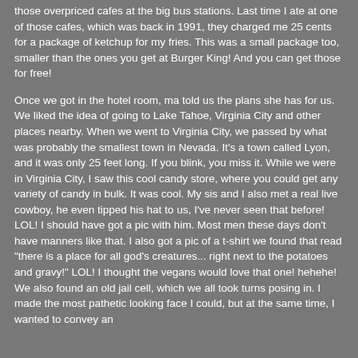those overpriced cafes at the big bus stations. Last time I ate at one of those cafes, which was back in 1991, they charged me 25 cents for a package of ketchup for my fries. This was a small package too, smaller than the ones you get at Burger King! And you can get those for free!

Once we got in the hotel room, ma told us the plans she has for us. We liked the idea of going to Lake Tahoe, Virginia City and other places nearby. When we went to Virginia City, we passed by what was probably the smallest town in Nevada. It's a town called Lyon, and it was only 25 feet long. If you blink, you miss it. While we were in Virginia City, I saw this cool candy store, where you could get any variety of candy in bulk. It was cool. My sis and I also met a real live cowboy, he even tipped his hat to us, I've never seen that before! LOL! I should have got a pic with him. Most men these days don't have manners like that. I also got a pic of a t-shirt we found that read "there is a place for all god's creatures... right next to the potatoes and gravy!" LOL! I thought the vegans would love that one! hehehe! We also found an old jail cell, which we all took turns posing in. I made the most pathetic looking face I could, but at the same time, I wanted to convey an